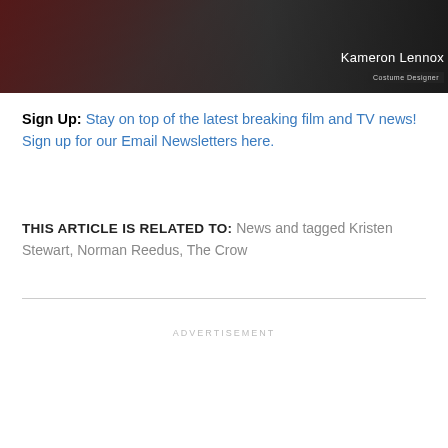[Figure (photo): Dark photo of people, with overlay text 'Kameron Lennox' and subtitle 'Costume Designer']
Sign Up: Stay on top of the latest breaking film and TV news! Sign up for our Email Newsletters here.
THIS ARTICLE IS RELATED TO: News and tagged Kristen Stewart, Norman Reedus, The Crow
ADVERTISEMENT